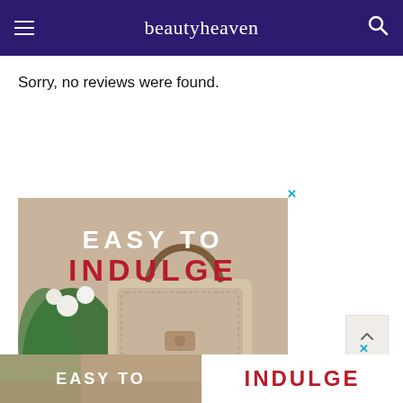beautyheaven
Sorry, no reviews were found.
[Figure (photo): Advertisement banner showing a beige background with flowers and a handbag. Text reads EASY TO INDULGE in white and dark red.]
[Figure (photo): Second advertisement banner at the bottom reading EASY TO INDULGE.]